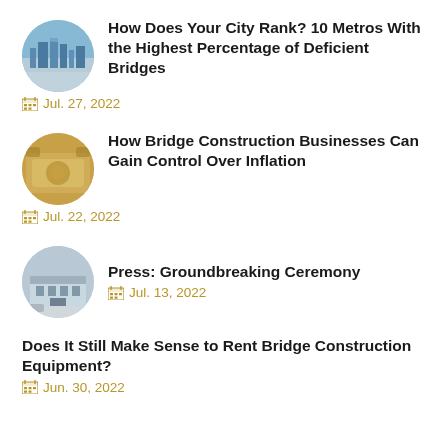How Does Your City Rank? 10 Metros With the Highest Percentage of Deficient Bridges
Jul. 27, 2022
How Bridge Construction Businesses Can Gain Control Over Inflation
Jul. 22, 2022
Press: Groundbreaking Ceremony
Jul. 13, 2022
Does It Still Make Sense to Rent Bridge Construction Equipment?
Jun. 30, 2022